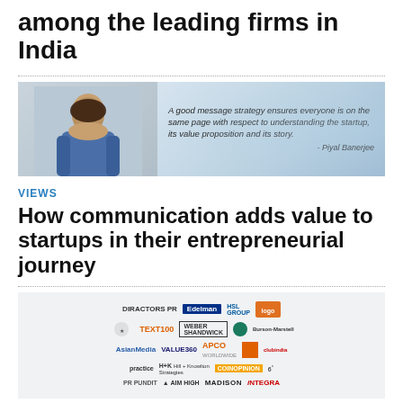among the leading firms in India
[Figure (photo): Photo of a woman (Piyal Banerjee) with a quote: 'A good message strategy ensures everyone is on the same page with respect to understanding the startup, its value proposition and its story. - Piyal Banerjee']
VIEWS
How communication adds value to startups in their entrepreneurial journey
[Figure (logo): Grid of PR firm logos including: DIRACTORS PR, Edelman, HSL GROUP, TEXT100, WEBER SHANDWICK, APCO WORLDWIDE, AsianMedia, VALUE360, Hill+Knowlton Strategies, COINOPINION, PR PUNDIT, AIM HIGH, MADISON, INTEGRA]
TAKING PRIDE